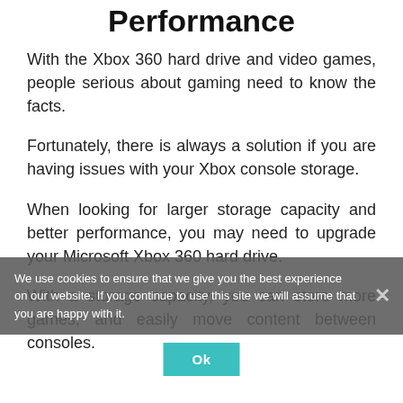Performance
With the Xbox 360 hard drive and video games, people serious about gaming need to know the facts.
Fortunately, there is always a solution if you are having issues with your Xbox console storage.
When looking for larger storage capacity and better performance, you may need to upgrade your Microsoft Xbox 360 hard drive.
With a storage capacity, you can store more games, and easily move content between consoles.
We use cookies to ensure that we give you the best experience on our website. If you continue to use this site we will assume that you are happy with it.